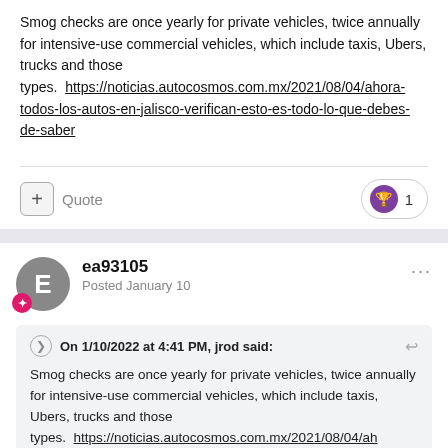Smog checks are once yearly for private vehicles, twice annually for intensive-use commercial vehicles, which include taxis, Ubers, trucks and those types.  https://noticias.autocosmos.com.mx/2021/08/04/ahora-todos-los-autos-en-jalisco-verifican-esto-es-todo-lo-que-debes-de-saber
Quote  1
ea93105
Posted January 10
On 1/10/2022 at 4:41 PM, jrod said:
Smog checks are once yearly for private vehicles, twice annually for intensive-use commercial vehicles, which include taxis, Ubers, trucks and those types.  https://noticias.autocosmos.com.mx/2021/08/04/ah